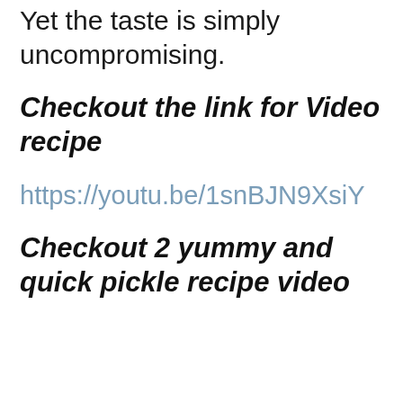Yet the taste is simply uncompromising.
Checkout the link for Video recipe
https://youtu.be/1snBJN9XsiY
Checkout 2 yummy and quick pickle recipe video